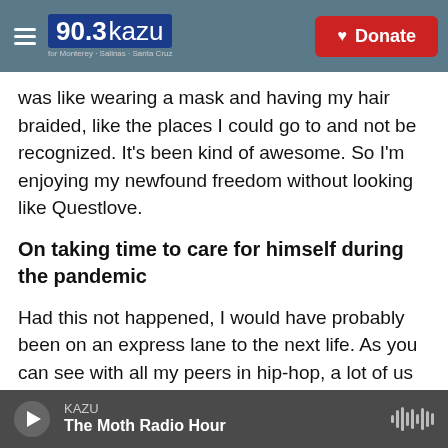90.3 kazu | Donate
was like wearing a mask and having my hair braided, like the places I could go to and not be recognized. It's been kind of awesome. So I'm enjoying my newfound freedom without looking like Questlove.
On taking time to care for himself during the pandemic
Had this not happened, I would have probably been on an express lane to the next life. As you can see with all my peers in hip-hop, a lot of us ... thought that not getting shot in the club was the victory.
KAZU | The Moth Radio Hour